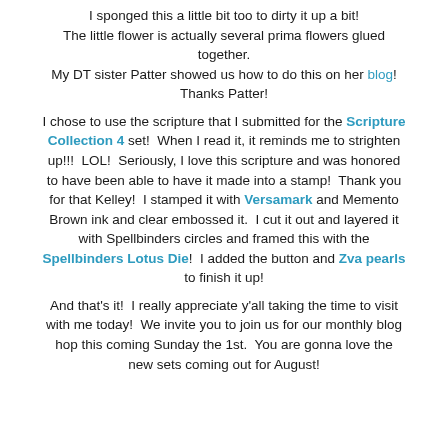I sponged this a little bit too to dirty it up a bit! The little flower is actually several prima flowers glued together. My DT sister Patter showed us how to do this on her blog! Thanks Patter!
I chose to use the scripture that I submitted for the Scripture Collection 4 set! When I read it, it reminds me to strighten up!!! LOL! Seriously, I love this scripture and was honored to have been able to have it made into a stamp! Thank you for that Kelley! I stamped it with Versamark and Memento Brown ink and clear embossed it. I cut it out and layered it with Spellbinders circles and framed this with the Spellbinders Lotus Die! I added the button and Zva pearls to finish it up!
And that's it! I really appreciate y'all taking the time to visit with me today! We invite you to join us for our monthly blog hop this coming Sunday the 1st. You are gonna love the new sets coming out for August!